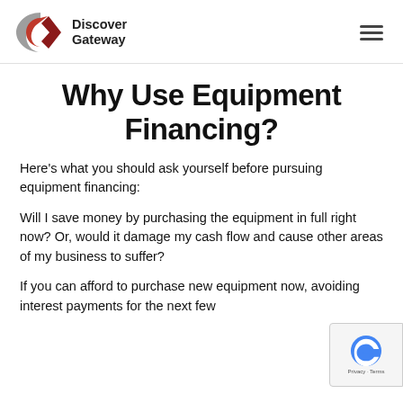Discover Gateway
Why Use Equipment Financing?
Here's what you should ask yourself before pursuing equipment financing:
Will I save money by purchasing the equipment in full right now? Or, would it damage my cash flow and cause other areas of my business to suffer?
If you can afford to purchase new equipment now, avoiding interest payments for the next few